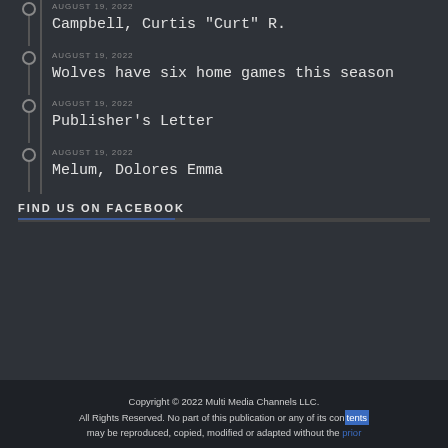AUGUST 19, 2022 — Campbell, Curtis "Curt" R.
AUGUST 19, 2022 — Wolves have six home games this season
AUGUST 19, 2022 — Publisher's Letter
AUGUST 19, 2022 — Melum, Dolores Emma
FIND US ON FACEBOOK
Copyright © 2022 Multi Media Channels LLC. All Rights Reserved. No part of this publication or any of its contents may be reproduced, copied, modified or adapted without the prior